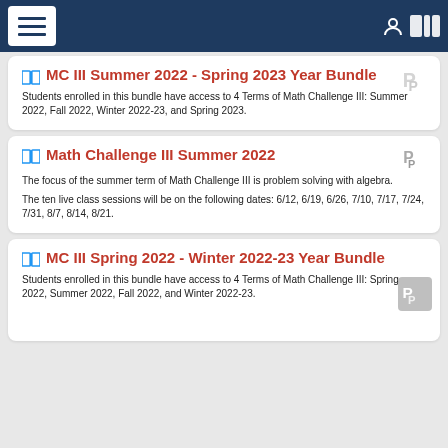MC III Summer 2022 - Spring 2023 Year Bundle
Students enrolled in this bundle have access to 4 Terms of Math Challenge III: Summer 2022, Fall 2022, Winter 2022-23, and Spring 2023.
Math Challenge III Summer 2022
The focus of the summer term of Math Challenge III is problem solving with algebra.

The ten live class sessions will be on the following dates: 6/12, 6/19, 6/26, 7/10, 7/17, 7/24, 7/31, 8/7, 8/14, 8/21.
MC III Spring 2022 - Winter 2022-23 Year Bundle
Students enrolled in this bundle have access to 4 Terms of Math Challenge III: Spring 2022, Summer 2022, Fall 2022, and Winter 2022-23.